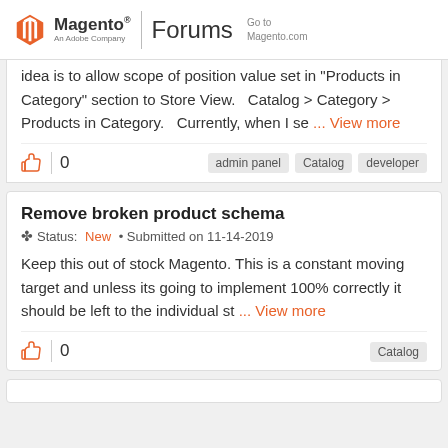Magento Forums — An Adobe Company | Go to Magento.com
idea is to allow scope of position value set in "Products in Category" section to Store View.   Catalog > Category > Products in Category.   Currently, when I se ... View more
0   admin panel  Catalog  developer
Remove broken product schema
Status: New • Submitted on 11-14-2019
Keep this out of stock Magento. This is a constant moving target and unless its going to implement 100% correctly it should be left to the individual st... ... View more
0   Catalog